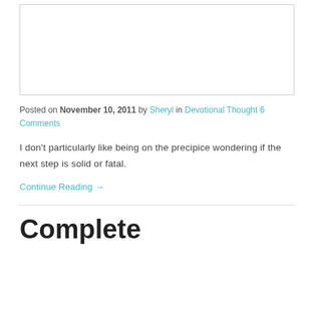[Figure (other): Empty white image placeholder box with light gray border]
Posted on November 10, 2011 by Sheryl in Devotional Thought 6 Comments
I don't particularly like being on the precipice wondering if the next step is solid or fatal.
Continue Reading →
Complete